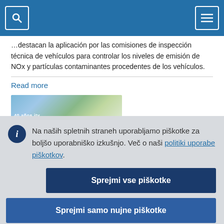[Navigation bar with search and menu icons]
... destacan la aplicación por las comisiones de inspección técnica de vehículos para controlar los niveles de emisión de NOx y partículas contaminantes procedentes de los vehículos.
Read more
[Figure (photo): Thumbnail image showing ITV (vehicle inspection) signage with trees in background]
Na naših spletnih straneh uporabljamo piškotke za boljšo uporabniško izkušnjo. Več o naši politiki uporabe piškotkov.
Sprejmi vse piškotke
Sprejmi samo nujne piškotke